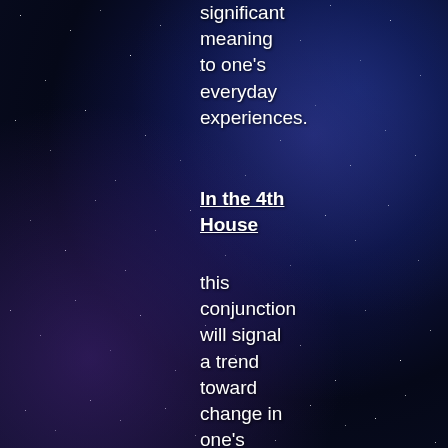significant meaning to one's everyday experiences.
In the 4th House
this conjunction will signal a trend toward change in one's personal feeling-judgements, and those